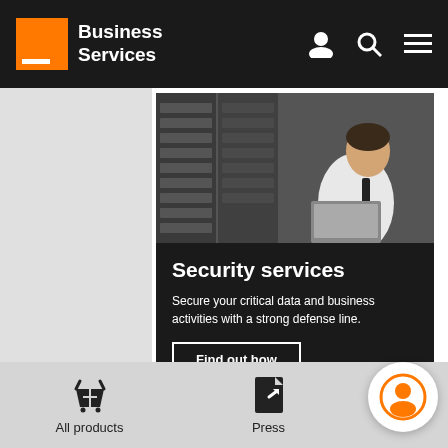Business Services
[Figure (screenshot): Server room photo with man in white shirt and tie working on laptop in front of server racks]
Security services
Secure your critical data and business activities with a strong defense line.
Find out how
All products | Press